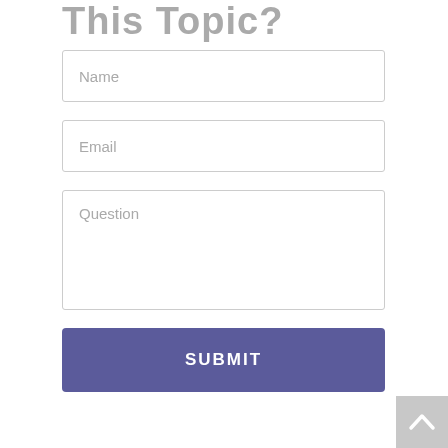This Topic?
Name
Email
Question
SUBMIT